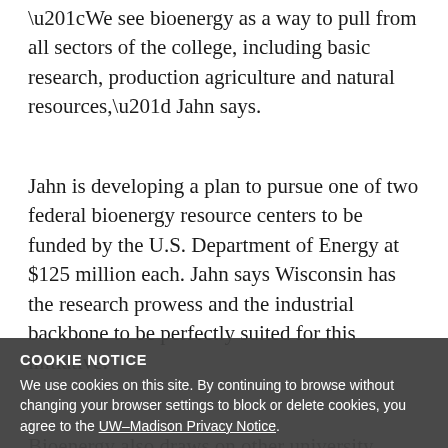“We see bioenergy as a way to pull from all sectors of the college, including basic research, production agriculture and natural resources,” Jahn says.
Jahn is developing a plan to pursue one of two federal bioenergy resource centers to be funded by the U.S. Department of Energy at $125 million each. Jahn says Wisconsin has the research prowess and the industrial backbone to be perfectly suited for this initiative.
Bioenergy also draws on other university research strengths in the College of Engineering and in the federal Forest Products Laboratory west of campus.
Some promising research projects already are under way. CALS forage specialists are investigating ways to use biomass crops in the bioenergy process. Another project is exploring a glue made from the byproducts of ethanol
COOKIE NOTICE
We use cookies on this site. By continuing to browse without changing your browser settings to block or delete cookies, you agree to the UW–Madison Privacy Notice.